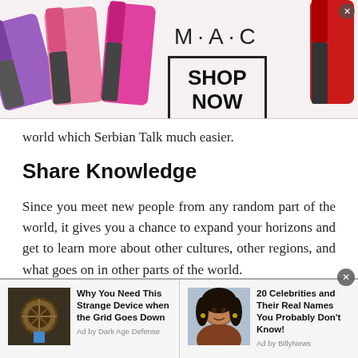[Figure (photo): MAC cosmetics advertisement banner showing lipsticks on left and right, MAC logo in center with SHOP NOW button in a box]
world which Serbian Talk much easier.
Share Knowledge
Since you meet new people from any random part of the world, it gives you a chance to expand your horizons and get to learn more about other cultures, other regions, and what goes on in other parts of the world.
With the help of stranger chat, you can share information with others, and other people can make you aware of
[Figure (photo): Bottom advertisement strip with two ad items: 1) Dark Ages device image with title 'Why You Need This Strange Device when the Grid Goes Down', Ad by Dark Age Defense; 2) Celebrity photo (Oprah Winfrey) with title '20 Celebrities and Their Real Names You Probably Don't Know!', Ad by BillyNews]